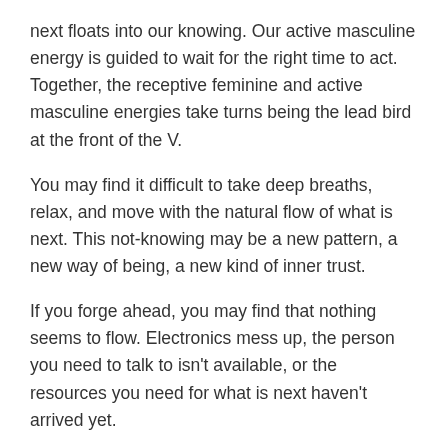next floats into our knowing. Our active masculine energy is guided to wait for the right time to act. Together, the receptive feminine and active masculine energies take turns being the lead bird at the front of the V.
You may find it difficult to take deep breaths, relax, and move with the natural flow of what is next. This not-knowing may be a new pattern, a new way of being, a new kind of inner trust.
If you forge ahead, you may find that nothing seems to flow. Electronics mess up, the person you need to talk to isn't available, or the resources you need for what is next haven't arrived yet.
Have you ever said to yourself, “I knew this wasn't the right time to do this!” That's when you know you aren't listening to the receptive feminine or the active masculine. Old patterns have taken over. An old, stale way of operating that tended to